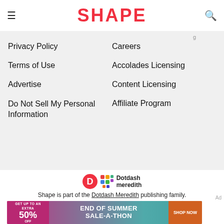SHAPE
Privacy Policy
Careers
Terms of Use
Accolades Licensing
Advertise
Content Licensing
Do Not Sell My Personal Information
Affiliate Program
[Figure (logo): Dotdash Meredith logo with orange D circle and colorful grid icon]
Shape is part of the Dotdash Meredith publishing family.
We've updated our Privacy Policy, which will go in to effect on September 1, 2022. Check it out here
[Figure (infographic): End of Summer Sale-A-Thon advertisement banner: GET UP TO AN EXTRA 50% OFF | END OF SUMMER SALE-A-THON | SHOP NOW]